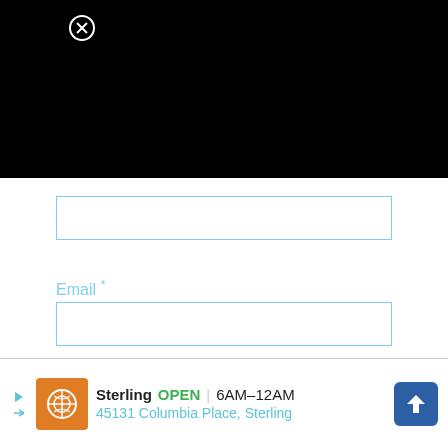[Figure (screenshot): Black rectangle area at top of page representing a video or media player with a close/dismiss button (circled X) in the upper left corner]
Email *
Website
[Figure (screenshot): Advertisement bar at bottom: Sterling restaurant ad with logo, OPEN 6AM-12AM, 45131 Columbia Place, Sterling, with navigation arrow icon]